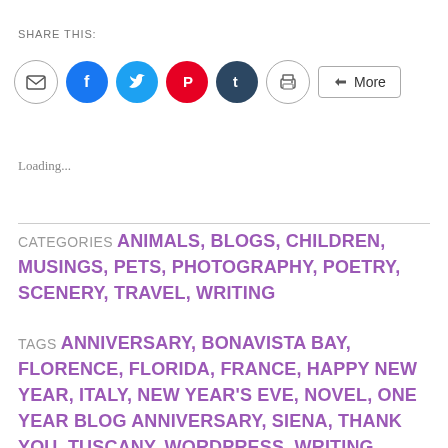SHARE THIS:
[Figure (infographic): Social share buttons: email (gray circle), Facebook (blue circle), Twitter (light blue circle), Pinterest (red circle), Tumblr (dark blue circle), Print (gray circle), More (rounded rectangle button)]
Loading...
CATEGORIES  ANIMALS, BLOGS, CHILDREN, MUSINGS, PETS, PHOTOGRAPHY, POETRY, SCENERY, TRAVEL, WRITING
TAGS  ANNIVERSARY, BONAVISTA BAY, FLORENCE, FLORIDA, FRANCE, HAPPY NEW YEAR, ITALY, NEW YEAR'S EVE, NOVEL, ONE YEAR BLOG ANNIVERSARY, SIENA, THANK YOU, TUSCANY, WORDPRESS, WRITING